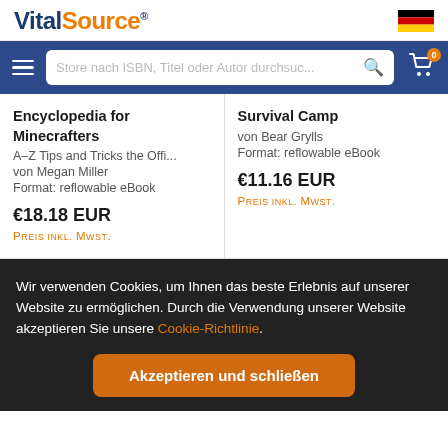VitalSource
Store nach ISBN, Titel oder Autor durchsuc...
Encyclopedia for Minecrafters
A–Z Tips and Tricks the Offi...
von Megan Miller
Format: reflowable eBook
€18.18 EUR
Preis inkl. MwSt.
Survival Camp
von Bear Grylls
Format: reflowable eBook
€11.16 EUR
Preis inkl. MwSt.
Wir verwenden Cookies, um Ihnen das beste Erlebnis auf unserer Website zu ermöglichen. Durch die Verwendung unserer Website akzeptieren Sie unsere Cookie-Richtlinie.
Akzeptieren und schließen